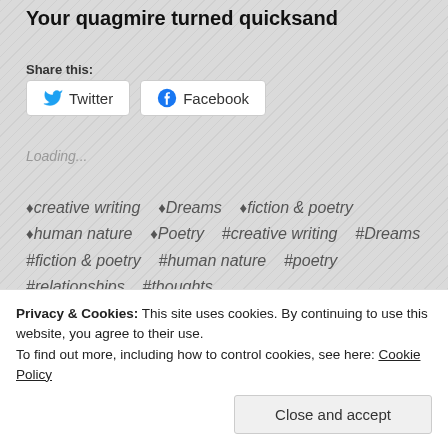Your quagmire turned quicksand
Share this:
Twitter   Facebook
Loading...
♦creative writing  ♦Dreams  ♦fiction & poetry  ♦human nature  ♦Poetry  #creative writing  #Dreams  #fiction & poetry  #human nature  #poetry  #relationships  #thoughts
Privacy & Cookies: This site uses cookies. By continuing to use this website, you agree to their use. To find out more, including how to control cookies, see here: Cookie Policy
Close and accept